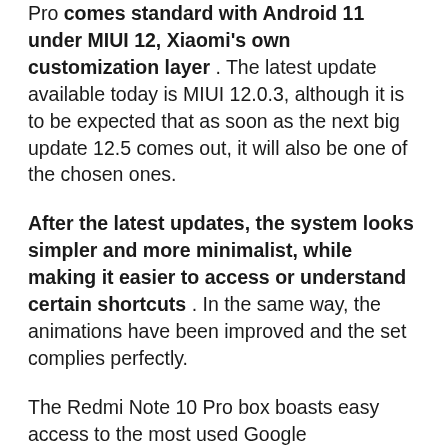Pro comes standard with Android 11 under MIUI 12, Xiaomi's own customization layer. The latest update available today is MIUI 12.0.3, although it is to be expected that as soon as the next big update 12.5 comes out, it will also be one of the chosen ones.
After the latest updates, the system looks simpler and more minimalist, while making it easier to access or understand certain shortcuts. In the same way, the animations have been improved and the set complies perfectly.
The Redmi Note 10 Pro box boasts easy access to the most used Google applications. The problem is that they do not lie, but Xiaomi's own applications are still included. In the end we found a hodgepodge of applications, many of them repeated, one from each company. The easy thing would be to be able to choose one and delete the other, but while with Google's you can, with Xiaomi not unless less orthodox methods are